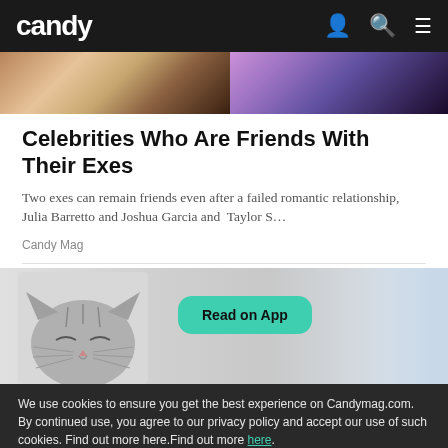candy
[Figure (photo): Top portion of an article image showing two people, one with colorful background]
Celebrities Who Are Friends With Their Exes
Two exes can remain friends even after a failed romantic relationship, Julia Barretto and Joshua Garcia and  Taylor S…
Candy Mag
[Figure (photo): Photo of a cat with eyes closed peeking up, with a teal 'Read on App' button overlay]
We use cookies to ensure you get the best experience on Candymag.com. By continued use, you agree to our privacy policy and accept our use of such cookies. Find out more here.Find out more here.